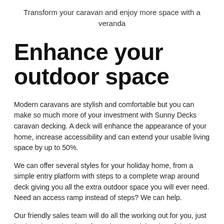Transform your caravan and enjoy more space with a veranda
Enhance your outdoor space
Modern caravans are stylish and comfortable but you can make so much more of your investment with Sunny Decks caravan decking. A deck will enhance the appearance of your home, increase accessibility and can extend your usable living space by up to 50%.
We can offer several styles for your holiday home, from a simple entry platform with steps to a complete wrap around deck giving you all the extra outdoor space you will ever need. Need an access ramp instead of steps? We can help.
Our friendly sales team will do all the working out for you, just let them know the size of your home and the size of deck you would like, they will do the rest.